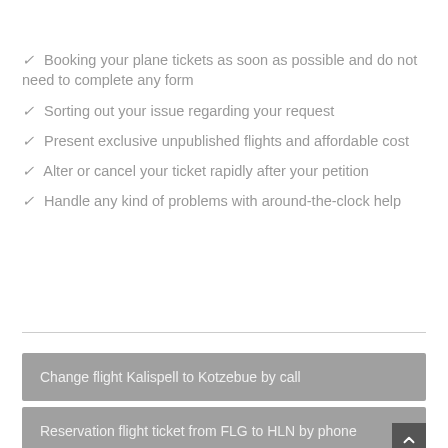✓ Booking your plane tickets as soon as possible and do not need to complete any form
✓ Sorting out your issue regarding your request
✓ Present exclusive unpublished flights and affordable cost
✓ Alter or cancel your ticket rapidly after your petition
✓ Handle any kind of problems with around-the-clock help
Change flight Kalispell to Kotzebue by call
Reservation flight ticket from FLG to HLN by phone